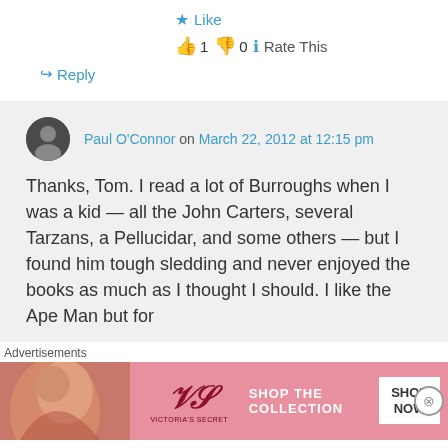★ Like
👍 1 👎 0 ℹ Rate This
↪ Reply
Paul O'Connor on March 22, 2012 at 12:15 pm
Thanks, Tom. I read a lot of Burroughs when I was a kid — all the John Carters, several Tarzans, a Pellucidar, and some others — but I found him tough sledding and never enjoyed the books as much as I thought I should. I like the Ape Man but for
Advertisements
[Figure (photo): Victoria's Secret advertisement banner with a woman and pink background, 'SHOP THE COLLECTION' text and 'SHOP NOW' button]